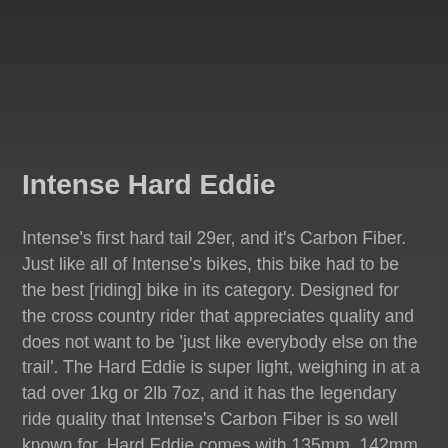Intense Hard Eddie
Intense's first hard tail 29er, and it's Carbon Fiber. Just like all of Intense's bikes, this bike had to be the best [riding] bike in its category. Designed for the cross country rider that appreciates quality and does not want to be 'just like everybody else on the trail'. The Hard Eddie is super light, weighing in at a tad over 1kg or 2lb 7oz, and it has the legendary ride quality that Intense's Carbon Fiber is so well known for. Hard Eddie comes with 135mm, 142mm and single speed dropout options. The ride quality comes from the refined Intense geometry and quality frame construction. Sticking to the successful formula used in the creation of the popular Carbine and Carbine SL, we used the design talents of Jeff Steber, and the Engineering skills of SEED Engineering to create another Carbon Fiber master piece